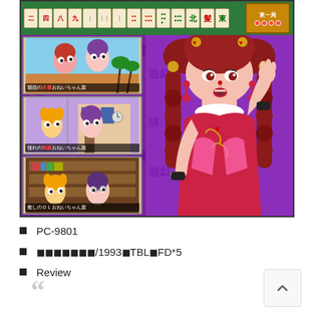[Figure (screenshot): Screenshot of a PC-9801 mahjong video game featuring anime-style characters. The top portion shows a mahjong tile bar on a green background with Japanese characters and a score box reading 東一局. Below is a purple background with the game title repeated. On the left are three story mode panels each showing anime girl characters with Japanese captions: 魅惑の水着おねいちゃん篇, 憧れの制服おねいちゃん篇, and 癒しのＯＬおねいちゃん篇. On the right is a large anime character in a red qipao dress with brown twin-braid hair.]
PC-9801
◼◼◼◼◼◼◼/1993◼TBL◼FD*5
Review